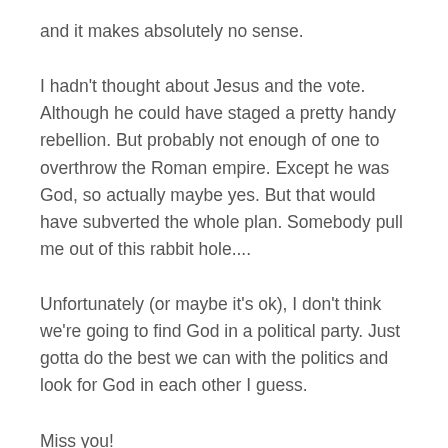and it makes absolutely no sense.
I hadn't thought about Jesus and the vote. Although he could have staged a pretty handy rebellion. But probably not enough of one to overthrow the Roman empire. Except he was God, so actually maybe yes. But that would have subverted the whole plan. Somebody pull me out of this rabbit hole....
Unfortunately (or maybe it's ok), I don't think we're going to find God in a political party. Just gotta do the best we can with the politics and look for God in each other I guess.
Miss you!